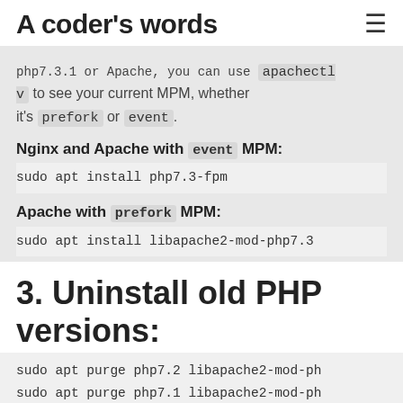A coder's words
php7.3.1 or Apache, you can use apachectl v to see your current MPM, whether it's prefork or event.
Nginx and Apache with event MPM:
sudo apt install php7.3-fpm
Apache with prefork MPM:
sudo apt install libapache2-mod-php7.3
3. Uninstall old PHP versions:
sudo apt purge php7.2 libapache2-mod-ph
sudo apt purge php7.1 libapache2-mod-ph
sudo apt purge php7.0 libapache2-mod-ph